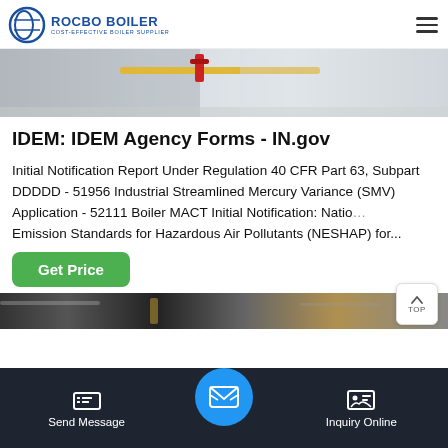ROCBO BOILER - COST-EFFECTIVE BOILER SUPPLIER
[Figure (photo): Industrial boiler facility interior photo showing pipes and equipment]
IDEM: IDEM Agency Forms - IN.gov
Initial Notification Report Under Regulation 40 CFR Part 63, Subpart DDDDD - 51956 Industrial Streamlined Mercury Variance (SMV) Application - 52111 Boiler MACT Initial Notification: National Emission Standards for Hazardous Air Pollutants (NESHAP) for...
[Figure (photo): Industrial facility/boiler equipment image]
Send Message  Inquiry Online